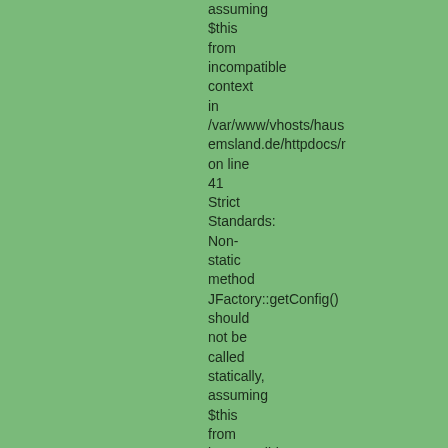assuming $this from incompatible context in /var/www/vhosts/hausemsland.de/httpdocs/r on line 41 Strict Standards: Non-static method JFactory::getConfig() should not be called statically, assuming $this from incompatible context in /var/www/vhosts/hausemsland.de/httpdocs/r on line 372 Strict Standards: